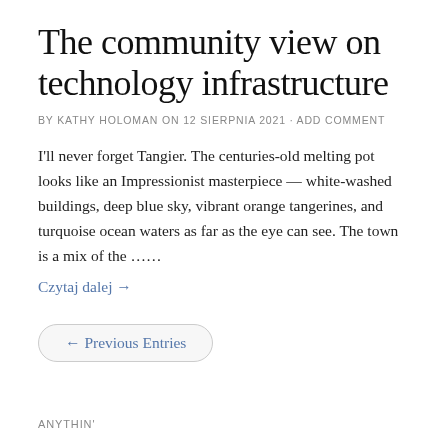The community view on technology infrastructure
BY KATHY HOLOMAN ON 12 SIERPNIA 2021 · ADD COMMENT
I'll never forget Tangier. The centuries-old melting pot looks like an Impressionist masterpiece — white-washed buildings, deep blue sky, vibrant orange tangerines, and turquoise ocean waters as far as the eye can see. The town is a mix of the ……
Czytaj dalej →
← Previous Entries
ANYTHIN'